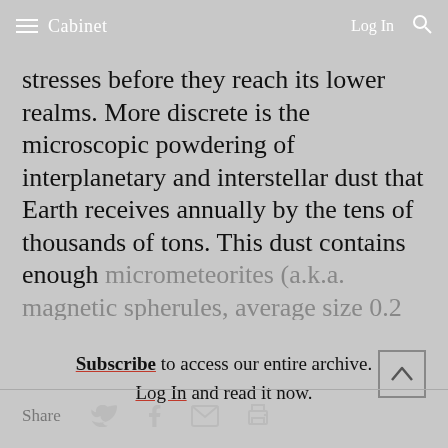Cabinet  Log In
stresses before they reach its lower realms. More discrete is the microscopic powdering of interplanetary and interstellar dust that Earth receives annually by the tens of thousands of tons. This dust contains enough micrometeorites (a.k.a. magnetic spherules, average size 0.2 millimeters) for at least one to
Subscribe to access our entire archive. Log In and read it now.
Share